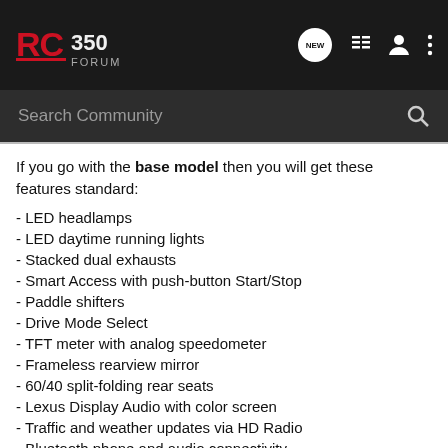RC350 Forum — header with logo, new, list, user, menu icons and search bar
If you go with the base model then you will get these features standard:
- LED headlamps
- LED daytime running lights
- Stacked dual exhausts
- Smart Access with push-button Start/Stop
- Paddle shifters
- Drive Mode Select
- TFT meter with analog speedometer
- Frameless rearview mirror
- 60/40 split-folding rear seats
- Lexus Display Audio with color screen
- Traffic and weather updates via HD Radio
- Bluetooth phone and audio connectivity